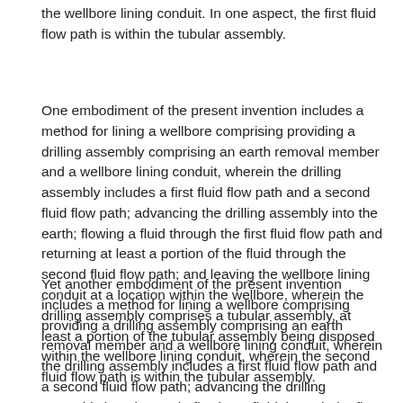the wellbore lining conduit. In one aspect, the first fluid flow path is within the tubular assembly.
One embodiment of the present invention includes a method for lining a wellbore comprising providing a drilling assembly comprising an earth removal member and a wellbore lining conduit, wherein the drilling assembly includes a first fluid flow path and a second fluid flow path; advancing the drilling assembly into the earth; flowing a fluid through the first fluid flow path and returning at least a portion of the fluid through the second fluid flow path; and leaving the wellbore lining conduit at a location within the wellbore, wherein the drilling assembly comprises a tubular assembly, at least a portion of the tubular assembly being disposed within the wellbore lining conduit, wherein the second fluid flow path is within the tubular assembly.
Yet another embodiment of the present invention includes a method for lining a wellbore comprising providing a drilling assembly comprising an earth removal member and a wellbore lining conduit, wherein the drilling assembly includes a first fluid flow path and a second fluid flow path; advancing the drilling assembly into the earth; flowing a fluid through the first fluid flow path and returning at least a portion of the fluid through the second fluid flow path; and leaving the wellbore lining conduit at a location within the wellbore, wherein the drilling assembly comprises a tubular assembly, at least a portion of the tubular assembly being disposed within the wellbore lining conduit, wherein the second fluid flow path is within the tubular assembly.